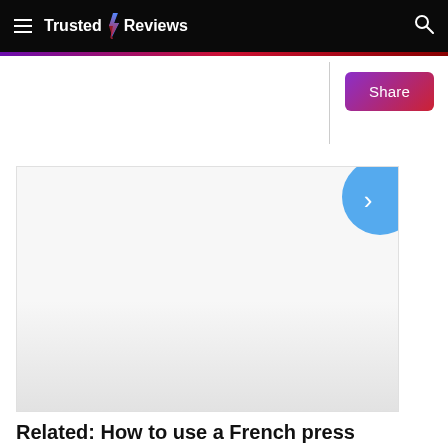Trusted Reviews
[Figure (screenshot): Large image placeholder area with light gray background, showing a navigation arrow button (blue, chevron right) in the upper right corner of the image frame.]
Share
Related: How to use a French press